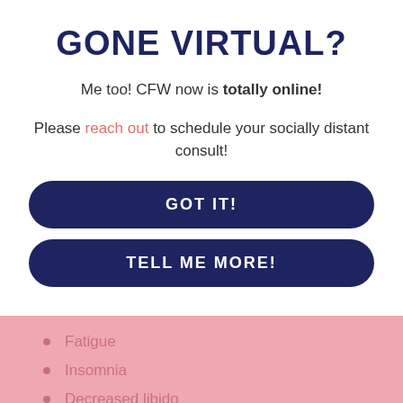GONE VIRTUAL?
Me too! CFW now is totally online!
Please reach out to schedule your socially distant consult!
GOT IT!
TELL ME MORE!
Fatigue
Insomnia
Decreased libido
Memory loss
Poor concentration